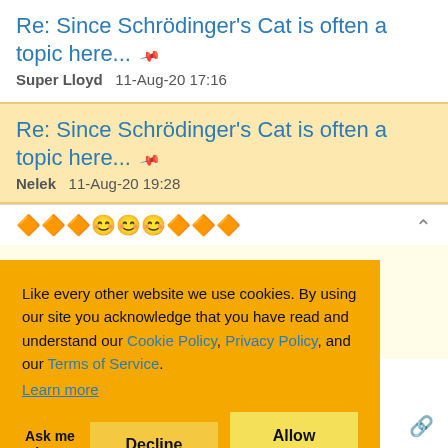Re: Since Schrödinger's Cat is often a topic here...
Super Lloyd   11-Aug-20 17:16
Re: Since Schrödinger's Cat is often a topic here...
Nelek   11-Aug-20 19:28
Like every other website we use cookies. By using our site you acknowledge that you have read and understand our Cookie Policy, Privacy Policy, and our Terms of Service. Learn more
e have to worry eason do we
and I'll explain